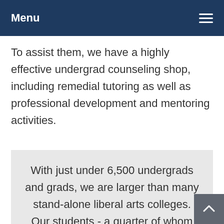Menu
To assist them, we have a highly effective undergrad counseling shop, including remedial tutoring as well as professional development and mentoring activities.
With just under 6,500 undergrads and grads, we are larger than many stand-alone liberal arts colleges. Our students - a quarter of whom come from